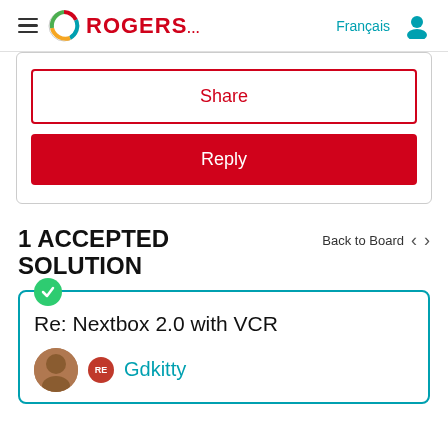ROGERS | Français
Share
Reply
1 ACCEPTED SOLUTION
Back to Board
Re: Nextbox 2.0 with VCR
Gdkitty